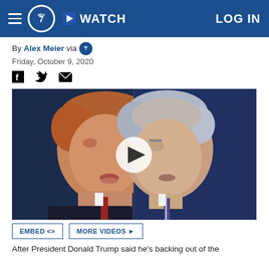ABC7 | WATCH | LOG IN
By Alex Meier via [abc7 logo]
Friday, October 9, 2020
[Figure (photo): Split composite photo of Donald Trump (left) and Joe Biden (right) facing each other with a video play button overlay in the center]
EMBED <> | MORE VIDEOS ▶
After President Donald Trump said he's backing out of the